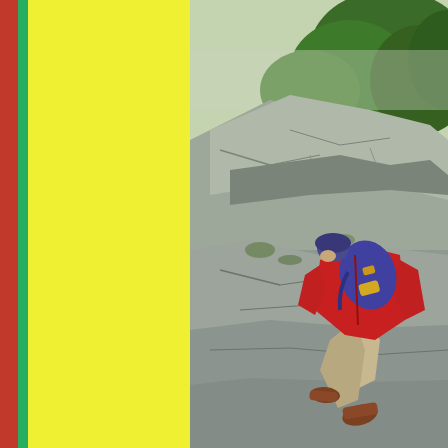[Figure (photo): A hiker in a red jacket and khaki pants with a blue and yellow backpack and a helmet scrambles up a large rocky outcrop. Green trees and foliage are visible in the misty background. The left portion of the image is covered by a yellow panel with thin red and green vertical stripes on its left edge.]